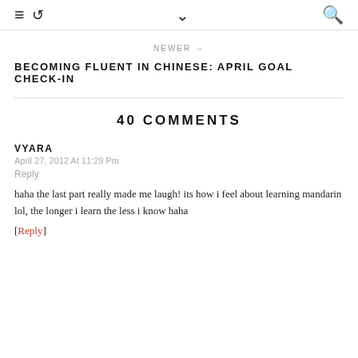≡ ↺ ∨ 🔍
NEWER →
BECOMING FLUENT IN CHINESE: APRIL GOAL CHECK-IN
40 COMMENTS
VYARA
April 27, 2012 At 11:29 Pm
Reply
haha the last part really made me laugh! its how i feel about learning mandarin lol, the longer i learn the less i know haha
[Reply]